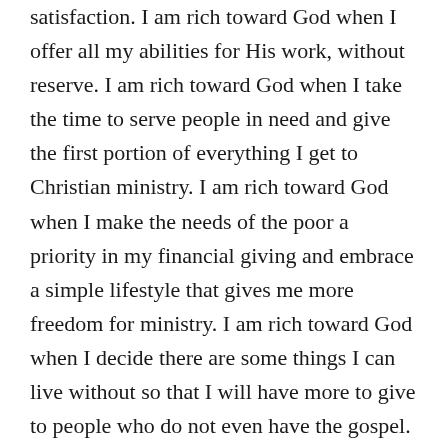satisfaction. I am rich toward God when I offer all my abilities for His work, without reserve. I am rich toward God when I take the time to serve people in need and give the first portion of everything I get to Christian ministry. I am rich toward God when I make the needs of the poor a priority in my financial giving and embrace a simple lifestyle that gives me more freedom for ministry. I am rich toward God when I decide there are some things I can live without so that I will have more to give to people who do not even have the gospel. I am rich toward God when I give and give until all I am and all I have is dedicated to His glory. The issue is not how much you have, or do not have, but your attitude about what you do not have, and your generosity with what you do have. Jesus is calling you to give more to God, to the point of costly personal sacrifice. You would be a fool not to give